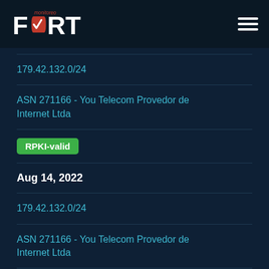FORT Monitoreo
179.42.132.0/24
ASN 271166 - You Telecom Provedor de Internet Ltda
RPKI-valid
Aug 14, 2022
179.42.132.0/24
ASN 271166 - You Telecom Provedor de Internet Ltda